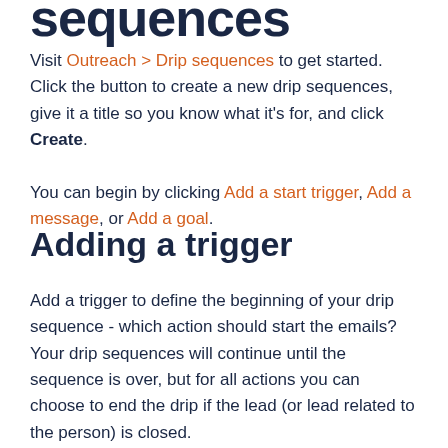sequences
Visit Outreach > Drip sequences to get started. Click the button to create a new drip sequences, give it a title so you know what it's for, and click Create.
You can begin by clicking Add a start trigger, Add a message, or Add a goal.
Adding a trigger
Add a trigger to define the beginning of your drip sequence - which action should start the emails? Your drip sequences will continue until the sequence is over, but for all actions you can choose to end the drip if the lead (or lead related to the person) is closed.